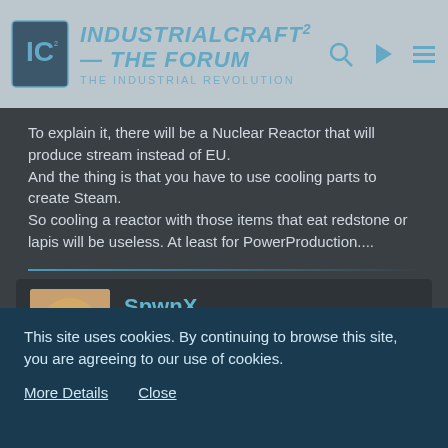IndustrialCraft² - The Forum · The Industrial Revolution
To explain it, there will be a Nuclear Reactor that will produce stream instead of EU.
And the thing is that you have to use cooling parts to create Steam.
So cooling a reactor with those items that eat redstone or lapis will be useless. At least for PowerProduction....
SpwnX
"Inactive" IC² Tester, GT PR and Forum Monitor
Jan 11th 2015  Official Post
This site uses cookies. By continuing to browse this site, you are agreeing to our use of cookies.
More Details   Close